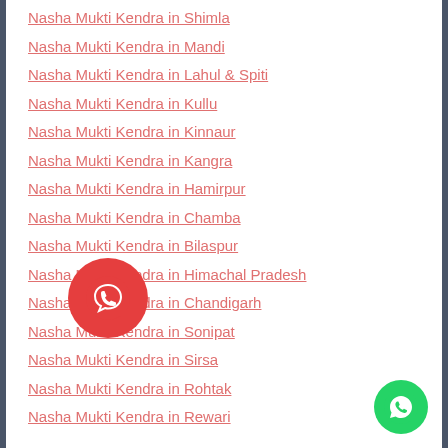Nasha Mukti Kendra in Shimla
Nasha Mukti Kendra in Mandi
Nasha Mukti Kendra in Lahul & Spiti
Nasha Mukti Kendra in Kullu
Nasha Mukti Kendra in Kinnaur
Nasha Mukti Kendra in Kangra
Nasha Mukti Kendra in Hamirpur
Nasha Mukti Kendra in Chamba
Nasha Mukti Kendra in Bilaspur
Nasha Mukti Kendra in Himachal Pradesh
Nasha Mukti Kendra in Chandigarh
Nasha Mukti Kendra in Sonipat
Nasha Mukti Kendra in Sirsa
Nasha Mukti Kendra in Rohtak
Nasha Mukti Kendra in Rewari